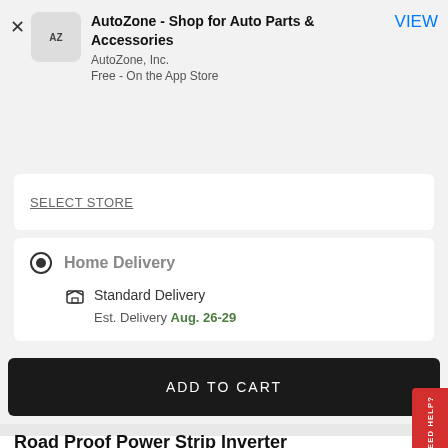[Figure (screenshot): AutoZone app icon placeholder with 'AZ' text]
AutoZone - Shop for Auto Parts & Accessories
AutoZone, Inc.
Free - On the App Store
VIEW
SELECT STORE
Home Delivery
Standard Delivery
Est. Delivery Aug. 26-29
ADD TO CART
Road Proof Power Strip Inverter
NEED HELP?